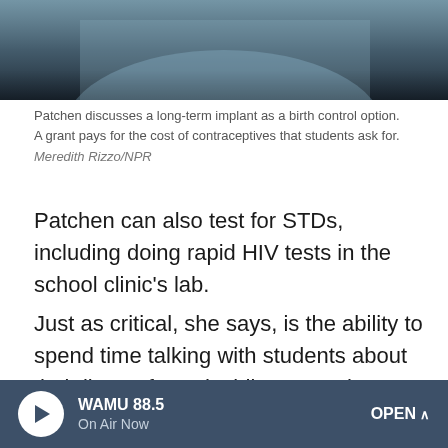[Figure (photo): Cropped photo showing upper portion of a person, dark background with blue-gray tones]
Patchen discusses a long-term implant as a birth control option. A grant pays for the cost of contraceptives that students ask for.
Meredith Rizzo/NPR
Patchen can also test for STDs, including doing rapid HIV tests in the school clinic’s lab.
Just as critical, she says, is the ability to spend time talking with students about their lives-- from deciding not to have sex, to navigating relationships.
For instance, she asks: "'Who makes a good girlfriend or a boyfriend? What is that kind of person? How do you make
[Figure (screenshot): WAMU 88.5 radio player bar at bottom of screen with play button, On Air Now label, and OPEN button]